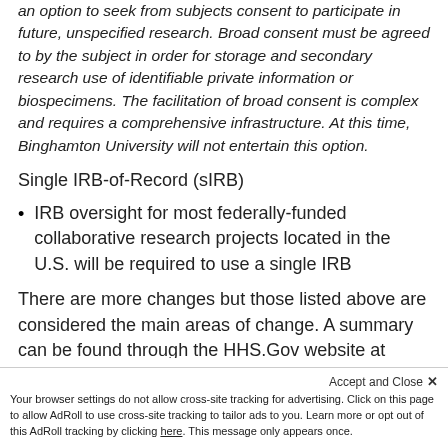an option to seek from subjects consent to participate in future, unspecified research. Broad consent must be agreed to by the subject in order for storage and secondary research use of identifiable private information or biospecimens. The facilitation of broad consent is complex and requires a comprehensive infrastructure. At this time, Binghamton University will not entertain this option.
Single IRB-of-Record (sIRB)
IRB oversight for most federally-funded collaborative research projects located in the U.S. will be required to use a single IRB
There are more changes but those listed above are considered the main areas of change. A summary can be found through the HHS.Gov website at Revised Common Rule Resources
Accept and Close ✕ Your browser settings do not allow cross-site tracking for advertising. Click on this page to allow AdRoll to use cross-site tracking to tailor ads to you. Learn more or opt out of this AdRoll tracking by clicking here. This message only appears once.